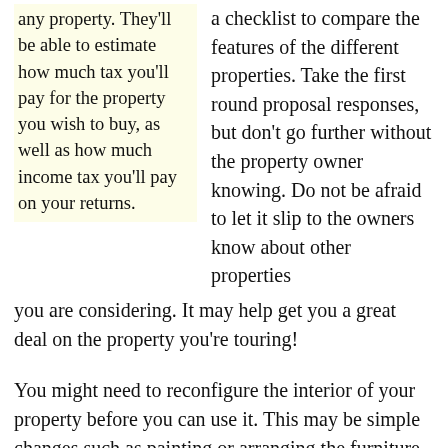any property. They'll be able to estimate how much tax you'll pay for the property you wish to buy, as well as how much income tax you'll pay on your returns.
a checklist to compare the features of the different properties. Take the first round proposal responses, but don't go further without the property owner knowing. Do not be afraid to let it slip to the owners know about other properties you are considering. It may help get you a great deal on the property you're touring!
You might need to reconfigure the interior of your property before you can use it. This may be simple changes such as painting or arranging the furniture more efficiently.